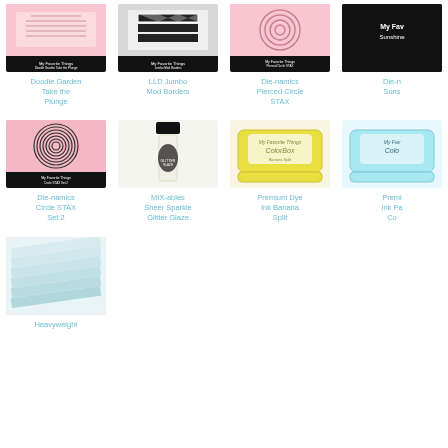[Figure (photo): Product image: Doodle Garden Take the Plunge stamp set with black label]
Doodle Garden Take the Plunge
[Figure (photo): Product image: LLD Jumbo Mod Borders with black label]
LLD Jumbo Mod Borders
[Figure (photo): Product image: Die-namics Pierced Circle STAX with black label]
Die-namics Pierced Circle STAX
[Figure (photo): Product image: Die-n Sunshine (partially visible) with black label]
Die-n Suns
[Figure (photo): Product image: Die-namics Circle STAX Set 2 with concentric circles on pink background]
Die-namics Circle STAX Set 2
[Figure (photo): Product image: MIX-ables Sheer Sparkle Glitter Glaze nail polish bottle]
MIX-ables Sheer Sparkle Glitter Glaze
[Figure (photo): Product image: Premium Dye Ink Banana Split yellow ink pad]
Premium Dye Ink Banana Split
[Figure (photo): Product image: Premium Ink Pa Co (partially visible) ink pad in blue/white]
Premi Ink Pa Co
[Figure (photo): Product image: Blue layered card stock sheets]
Heavyweight